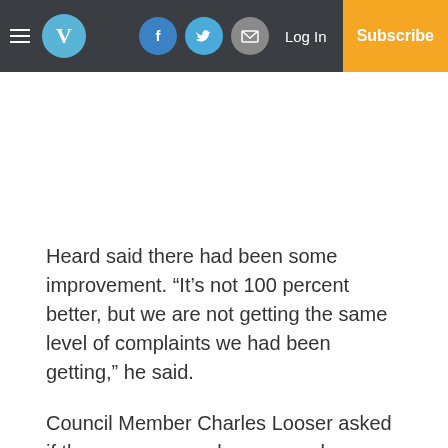V | Log In | Subscribe
Heard said there had been some improvement. “It’s not 100 percent better, but we are not getting the same level of complaints we had been getting,” he said.
Council Member Charles Looser asked if there were any rules on people running a business out of their home. The only form of at-home business that’s